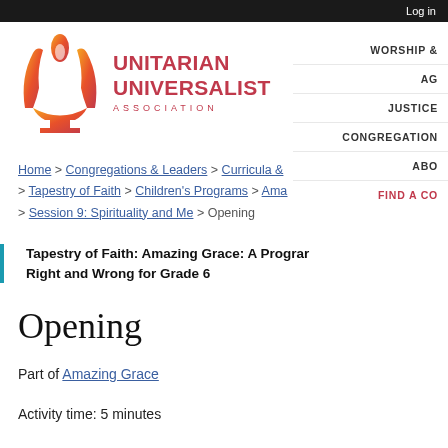Log in
[Figure (logo): Unitarian Universalist Association logo with flame chalice icon in red-orange gradient and text 'UNITARIAN UNIVERSALIST ASSOCIATION']
WORSHIP &
AG
JUSTICE
CONGREGATION
ABO
FIND A CO
Home > Congregations & Leaders > Curricula & > Tapestry of Faith > Children's Programs > Ama > Session 9: Spirituality and Me > Opening
Tapestry of Faith: Amazing Grace: A Program Right and Wrong for Grade 6
Opening
Part of Amazing Grace
Activity time: 5 minutes